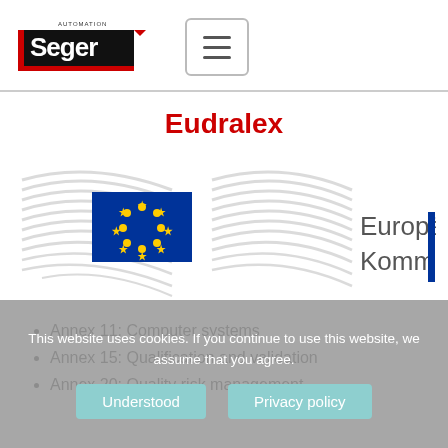Seger Automation [logo] [hamburger menu]
Eudralex
[Figure (logo): European Commission logo with EU flag (blue background, yellow stars) and grey wing lines beside the text 'Europäische Kommission' with a vertical blue bar]
Annex 11: Computer systems
Annex 15: Qualification and validation
Annex 20: Quality risk management
This website uses cookies. If you continue to use this website, we assume that you agree.
Understood   Privacy policy